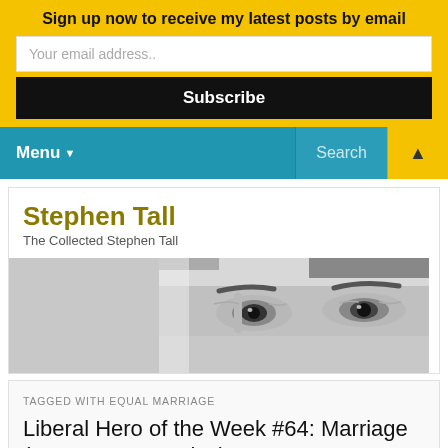Sign up now to receive my latest posts by email
Your email address..
Subscribe
Menu ▼   Search   ▲
Stephen Tall
The Collected Stephen Tall
[Figure (photo): Black and white close-up photo of a man's eyes and upper face]
TAGGED WITH EQUAL MARRIAGE
Liberal Hero of the Week #64: Marriage (Same Sex Couples) Act 2013